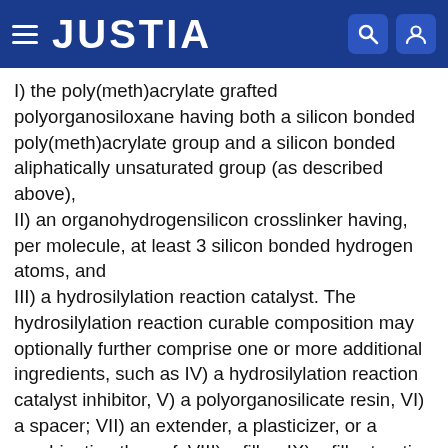JUSTIA
I) the poly(meth)acrylate grafted polyorganosiloxane having both a silicon bonded poly(meth)acrylate group and a silicon bonded aliphatically unsaturated group (as described above), II) an organohydrogensilicon crosslinker having, per molecule, at least 3 silicon bonded hydrogen atoms, and III) a hydrosilylation reaction catalyst. The hydrosilylation reaction curable composition may optionally further comprise one or more additional ingredients, such as IV) a hydrosilylation reaction catalyst inhibitor, V) a polyorganosilicate resin, VI) a spacer; VII) an extender, a plasticizer, or a combination thereof; VIII) a filler; IX) a filler treating agent; X) a biocide; XI) a flame retardant; XII) a surface modifier; XIII) a chain lengthener; XIV) an endblocker; XV) a flux agent; XVI) an anti-aging additive; XVII) a pigment; XVIII) an acid acceptor; XIX) a rheological